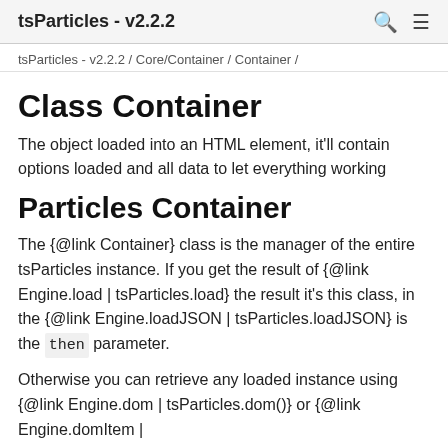tsParticles - v2.2.2
tsParticles - v2.2.2 / Core/Container / Container /
Class Container
The object loaded into an HTML element, it'll contain options loaded and all data to let everything working
Particles Container
The {@link Container} class is the manager of the entire tsParticles instance. If you get the result of {@link Engine.load | tsParticles.load} the result it's this class, in the {@link Engine.loadJSON | tsParticles.loadJSON} is the then parameter.
Otherwise you can retrieve any loaded instance using {@link Engine.dom | tsParticles.dom()} or {@link Engine.domItem |